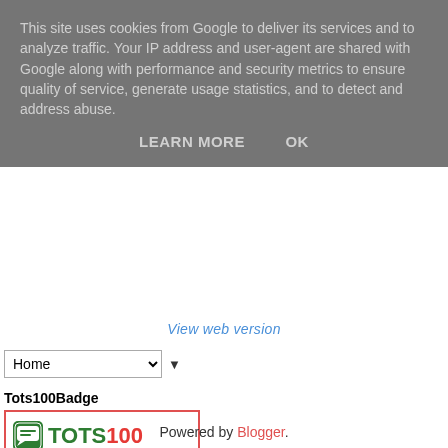This site uses cookies from Google to deliver its services and to analyze traffic. Your IP address and user-agent are shared with Google along with performance and security metrics to ensure quality of service, generate usage statistics, and to detect and address abuse.
LEARN MORE   OK
View web version
Home ▼
Tots100Badge
[Figure (logo): TOTS100 badge with logo icon showing chat bubbles, green and red text reading TOTS100, and message: WEBSITE OWNER: Please log in to www.tots100.co.uk and update your badge code]
[Figure (logo): Parenting Influencer badge with Instagram-style icon in blue and text PARENTING INFLUENCER in red and blue]
Powered by Blogger.